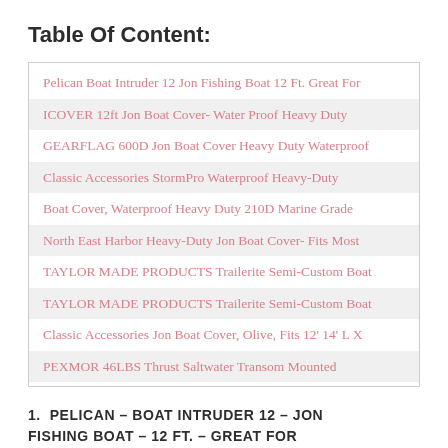Table Of Content:
| Pelican Boat Intruder 12 Jon Fishing Boat 12 Ft. Great For |
| ICOVER 12ft Jon Boat Cover- Water Proof Heavy Duty |
| GEARFLAG 600D Jon Boat Cover Heavy Duty Waterproof |
| Classic Accessories StormPro Waterproof Heavy-Duty |
| Boat Cover, Waterproof Heavy Duty 210D Marine Grade |
| North East Harbor Heavy-Duty Jon Boat Cover- Fits Most |
| TAYLOR MADE PRODUCTS Trailerite Semi-Custom Boat |
| TAYLOR MADE PRODUCTS Trailerite Semi-Custom Boat |
| Classic Accessories Jon Boat Cover, Olive, Fits 12' 14' L X |
| PEXMOR 46LBS Thrust Saltwater Transom Mounted |
1.  PELICAN – BOAT INTRUDER 12 – JON FISHING BOAT – 12 FT. – GREAT FOR